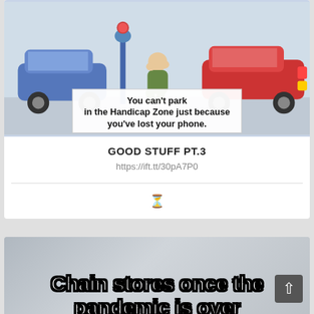[Figure (illustration): Comic cartoon showing a man crouching between cars in a parking lot looking distressed, with a text caption bubble reading: You can't park in the Handicap Zone just because you've lost your phone.]
GOOD STUFF PT.3
https://ift.tt/30pA7P0
[Figure (illustration): Meme image with bold white outlined text on a blurred background reading: Chain stores once the pandemic is over]